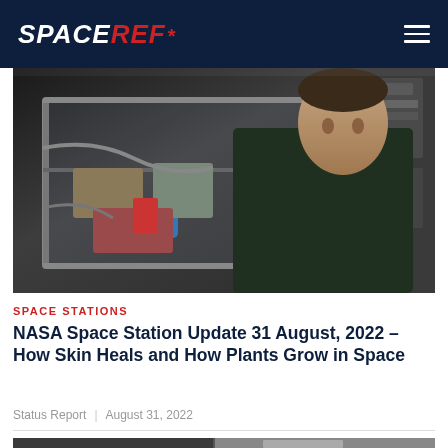SPACEREF*
[Figure (photo): Astronaut in dark green shirt wearing blue gloves working inside a laboratory module on the International Space Station, manipulating equipment through a transparent enclosure]
SPACE STATIONS
NASA Space Station Update 31 August, 2022 – How Skin Heals and How Plants Grow in Space
Status Report  |  August 31, 2022
[Figure (photo): Interior view of ISS equipment, bottom partial image]